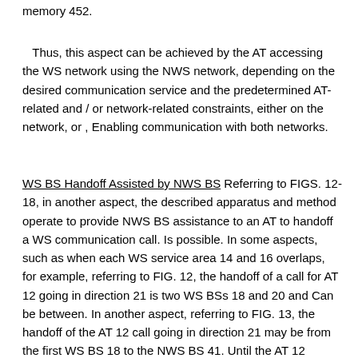memory 452.
Thus, this aspect can be achieved by the AT accessing the WS network using the NWS network, depending on the desired communication service and the predetermined AT-related and / or network-related constraints, either on the network, or , Enabling communication with both networks.
WS BS Handoff Assisted by NWS BS Referring to FIGS. 12-18, in another aspect, the described apparatus and method operate to provide NWS BS assistance to an AT to handoff a WS communication call. Is possible. In some aspects, such as when each WS service area 14 and 16 overlaps, for example, referring to FIG. 12, the handoff of a call for AT 12 going in direction 21 is two WS BSs 18 and 20 and Can be between. In another aspect, referring to FIG. 13, the handoff of the AT 12 call going in direction 21 may be from the first WS BS 18 to the NWS BS 41. Until the AT 12 reaches the WS service area 16 of the second WS BS 20, the NWS BS 41 can maintain the call. At this time, the NWS BS 41 hands off the call to the second WS BS 20. That is, referring to FIG. 13, the NWS BS 41 has an NWS service area 43 that bridges the WS service areas 14 and 16, so that the NWS BS 41 maintains the call until the AT